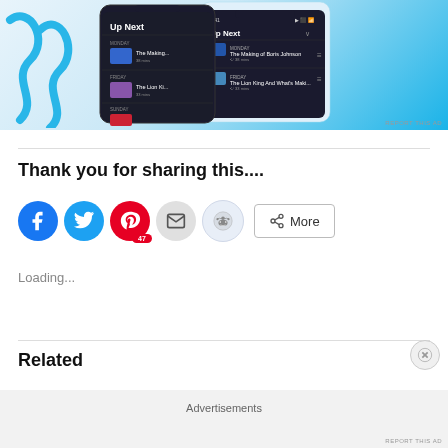[Figure (screenshot): Advertisement showing a streaming app UI with 'Up Next' queue on two phone screens, on a blue background with white squiggles]
REPORT THIS AD
Thank you for sharing this....
[Figure (infographic): Social share buttons: Facebook, Twitter, Pinterest (47), Email, Reddit, More]
Loading...
Related
Advertisements
REPORT THIS AD